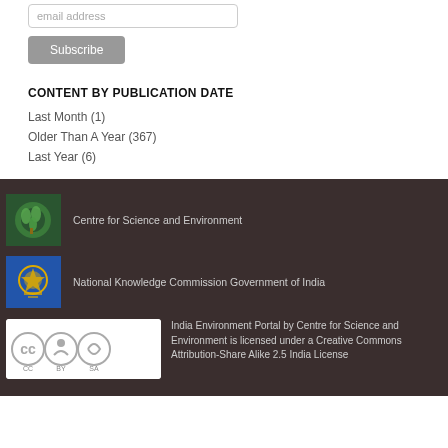email address
Subscribe
CONTENT BY PUBLICATION DATE
Last Month (1)
Older Than A Year (367)
Last Year (6)
[Figure (logo): Centre for Science and Environment logo - green circular emblem]
Centre for Science and Environment
[Figure (logo): National Knowledge Commission Government of India logo - blue emblem]
National Knowledge Commission Government of India
[Figure (logo): Creative Commons Attribution-Share Alike license badge]
India Environment Portal by Centre for Science and Environment is licensed under a Creative Commons Attribution-Share Alike 2.5 India License